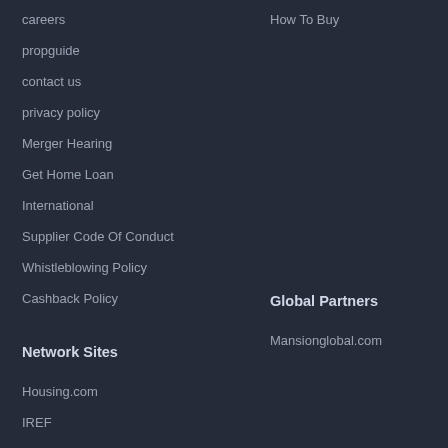careers
How To Buy
propguide
contact us
privacy policy
Merger Hearing
Get Home Loan
International
Supplier Code Of Conduct
Whistleblowing Policy
Cashback Policy
Network Sites
Global Partners
Housing.com
Mansionglobal.com
IREF
Makaan.com